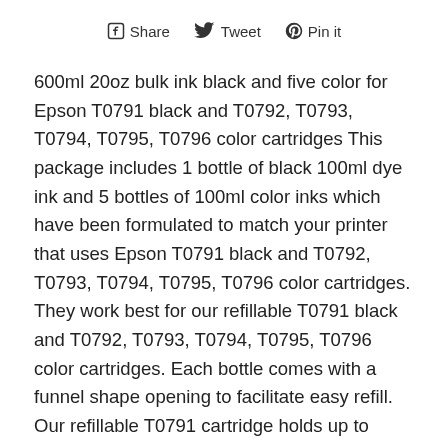Share  Tweet  Pin it
600ml 20oz bulk ink black and five color for Epson T0791 black and T0792, T0793, T0794, T0795, T0796 color cartridges This package includes 1 bottle of black 100ml dye ink and 5 bottles of 100ml color inks which have been formulated to match your printer that uses Epson T0791 black and T0792, T0793, T0794, T0795, T0796 color cartridges. They work best for our refillable T0791 black and T0792, T0793, T0794, T0795, T0796 color cartridges. Each bottle comes with a funnel shape opening to facilitate easy refill. Our refillable T0791 cartridge holds up to 14ml of ink and this pack of bulk ink can fill it for approximately 7 times. The T0792, T0793, T0794, T0795, T0796 color refillable cartridge holds 14ml of ink in each color chamber. This pack of bulk inks can refill the T0792, T0793, T0794, T0795, T0796 color cartridge